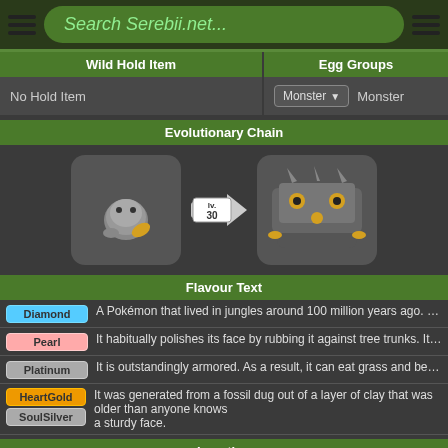Search Serebii.net...
| Wild Hold Item | Egg Groups |
| --- | --- |
| No Hold Item | Monster  Monster |
Evolutionary Chain
[Figure (illustration): Evolutionary chain showing two Pokemon sprites with a level 30 arrow between them]
Flavour Text
Diamond: A Pokémon that lived in jungles around 100 million years ago. Its facial hide is extremely...
Pearl: It habitually polishes its face by rubbing it against tree trunks. It is weak to attacks from b...
Platinum: It is outstandingly armored. As a result, it can eat grass and berries without having to figh...
HeartGold / SoulSilver: It was generated from a fossil dug out of a layer of clay that was older than anyone knows... a sturdy face.
Location
| Game | Location |
| --- | --- |
| Diamond | Trade with Pearl |
| Pearl | Revive from Armor Fossil |
| Game | Location |
| --- | --- |
| Diamond | Trade with Pearl |
| Pearl | Revive from Armor Fossil |